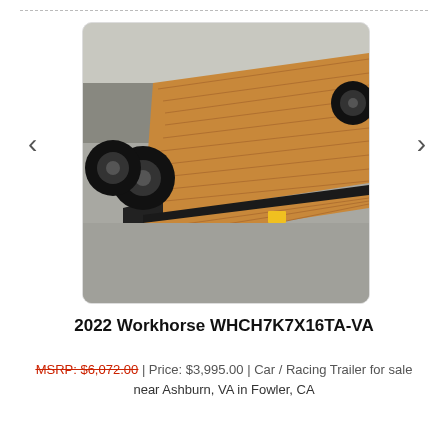[Figure (photo): Photograph of a 2022 Workhorse WHCH7K7X16TA-VA car/racing trailer with wooden deck and black steel frame, photographed at an outdoor lot. The trailer has dual axles with tires visible on the left side and a ball hitch with safety chains at the front.]
2022 Workhorse WHCH7K7X16TA-VA
MSRP: $6,072.00 | Price: $3,995.00 | Car / Racing Trailer for sale near Ashburn, VA in Fowler, CA